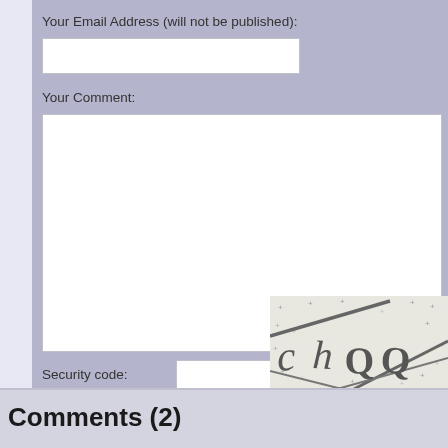Your Email Address (will not be published):
Your Comment:
Security code:
[Figure (other): CAPTCHA image showing distorted text characters 'chQQ' with dark curved lines and plus signs on a light background]
Reloa
Comments (2)